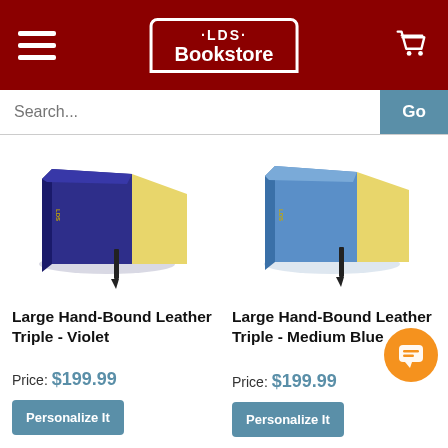[Figure (logo): LDS Bookstore header logo with hamburger menu and cart icon on dark red background]
[Figure (screenshot): Search bar with 'Search...' placeholder text and 'Go' button]
[Figure (photo): Large Hand-Bound Leather Triple (violet/navy blue) product image]
Large Hand-Bound Leather Triple - Violet
Price: $199.99
Personalize It
[Figure (photo): Large Hand-Bound Leather Triple (medium blue) product image]
Large Hand-Bound Leather Triple - Medium Blue
Price: $199.99
Personalize It
[Figure (photo): Partial bottom views of two more book products (green and dark)]